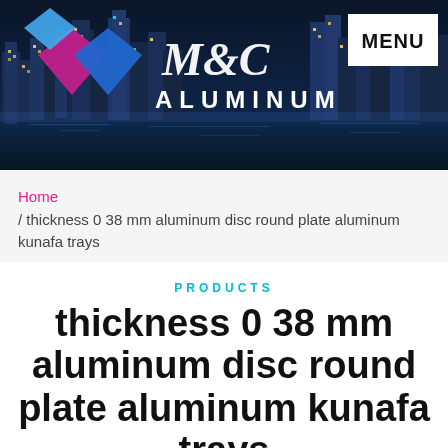[Figure (photo): M&C Aluminum company header banner with city skyline at night background, diamond logo on left, M&C Aluminum brand text in center, and MENU button on right]
Home / thickness 0 38 mm aluminum disc round plate aluminum kunafa trays
PRODUCTS
thickness 0 38 mm aluminum disc round plate aluminum kunafa trays